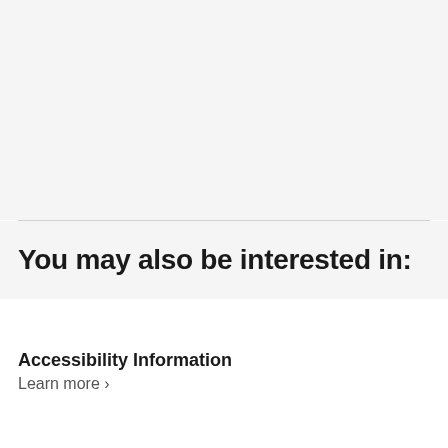You may also be interested in:
Accessibility Information
Learn more ›